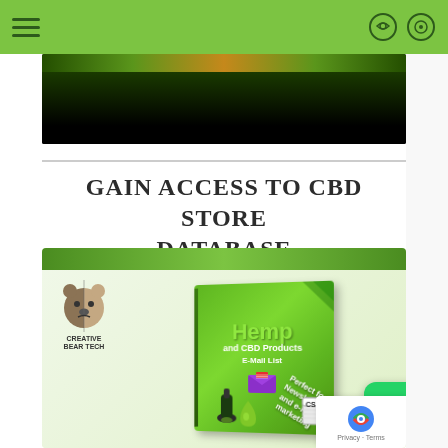Navigation header with hamburger menu and search/share icons
[Figure (screenshot): Video thumbnail — dark background with colored gradient bar at top]
GAIN ACCESS TO CBD STORE DATABASE
[Figure (photo): Product box image: Hemp and CBD Products E-Mail List by Creative Bear Tech, shown as a 3D box on a green background. Text on box: Hemp and CBD Products, E-Mail List, Perfect for Newsletter and e-mail marketing. CSV icon shown.]